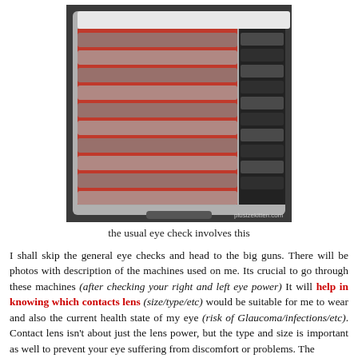[Figure (photo): An open optometry trial lens set case with red and black foam-lined compartments holding rows of trial lenses. A watermark reads 'plusizekitten.com'.]
the usual eye check involves this
I shall skip the general eye checks and head to the big guns. There will be photos with description of the machines used on me. Its crucial to go through these machines (after checking your right and left eye power) It will help in knowing which contacts lens (size/type/etc) would be suitable for me to wear and also the current health state of my eye (risk of Glaucoma/infections/etc). Contact lens isn't about just the lens power, but the type and size is important as well to prevent your eye suffering from discomfort or problems. The